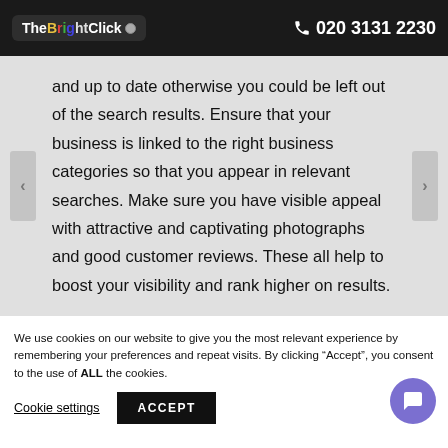TheBrightClick  020 3131 2230
and up to date otherwise you could be left out of the search results. Ensure that your business is linked to the right business categories so that you appear in relevant searches. Make sure you have visible appeal with attractive and captivating photographs and good customer reviews. These all help to boost your visibility and rank higher on results.
We use cookies on our website to give you the most relevant experience by remembering your preferences and repeat visits. By clicking “Accept”, you consent to the use of ALL the cookies.
Cookie settings   ACCEPT